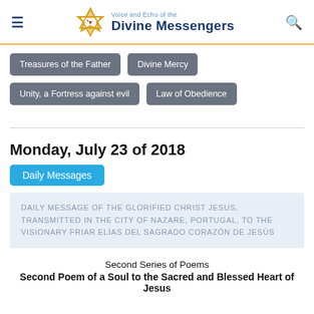Voice and Echo of the Divine Messengers
Treasures of the Father
Divine Mercy
Unity, a Fortress against evil
Law of Obedience
Monday, July 23 of 2018
Daily Messages
DAILY MESSAGE OF THE GLORIFIED CHRIST JESUS, TRANSMITTED IN THE CITY OF NAZARE, PORTUGAL, TO THE VISIONARY FRIAR ELÍAS DEL SAGRADO CORAZÓN DE JESÚS
Second Series of Poems
Second Poem of a Soul to the Sacred and Blessed Heart of Jesus